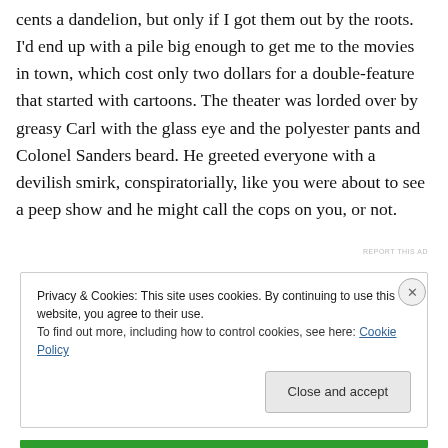cents a dandelion, but only if I got them out by the roots. I'd end up with a pile big enough to get me to the movies in town, which cost only two dollars for a double-feature that started with cartoons. The theater was lorded over by greasy Carl with the glass eye and the polyester pants and Colonel Sanders beard. He greeted everyone with a devilish smirk, conspiratorially, like you were about to see a peep show and he might call the cops on you, or not.
REPORT THIS AD
Privacy & Cookies: This site uses cookies. By continuing to use this website, you agree to their use. To find out more, including how to control cookies, see here: Cookie Policy
Close and accept